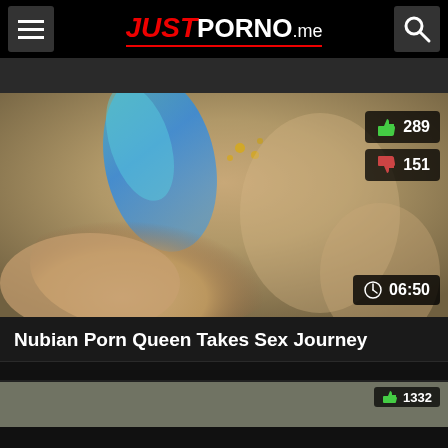JUSTPORNO.me
[Figure (screenshot): Video thumbnail showing close-up content with blue ribbon/fabric, with thumbs-up 289, thumbs-down 151, and duration 06:50 overlays]
Nubian Porn Queen Takes Sex Journey
[Figure (screenshot): Partial next video thumbnail with vote count 1332]